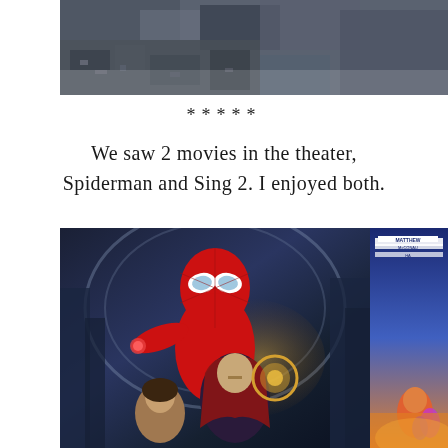[Figure (photo): Top portion of an aerial/overhead photo, partially visible at the top of the page, showing a dark urban or industrial scene from above.]
*****
We saw 2 movies in the theater, Spiderman and Sing 2. I enjoyed both.
[Figure (photo): Spider-Man: No Way Home movie poster showing Spider-Man in red suit with Doctor Strange and MJ, with cityscape in background. Partially visible on the right is the Sing 2 movie poster showing Matthew McConaughey text.]